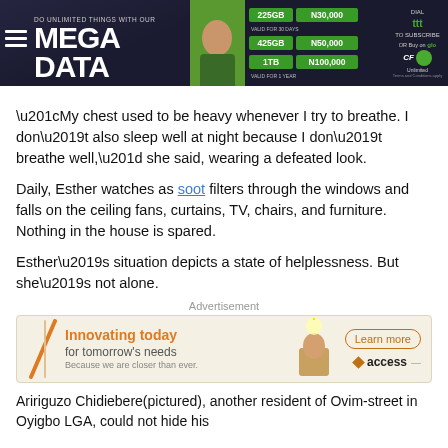[Figure (other): Glo Mega Data advertisement banner showing a woman, with data plans: 225GB N30,000, 425GB N50,000, 1TB N100,000. Includes Dial to subscribe and Glo Unlimited branding.]
“My chest used to be heavy whenever I try to breathe. I don’t also sleep well at night because I don’t breathe well,” she said, wearing a defeated look.
Daily, Esther watches as soot filters through the windows and falls on the ceiling fans, curtains, TV, chairs, and furniture. Nothing in the house is spared.
Esther’s situation depicts a state of helplessness. But she’s not alone.
Advertisement
[Figure (other): Access Bank advertisement: Innovating today for tomorrow’s needs. Because we are closer than ever. Learn more button.]
Aririguzo Chidiebere(pictured), another resident of Ovim-street in Oyigbo LGA, could not hide his